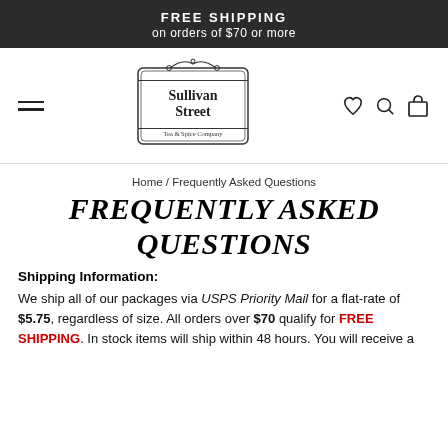FREE SHIPPING
on orders of $70 or more
[Figure (logo): Sullivan Street Tea & Spice Company logo — decorative bordered sign shape with scrollwork]
Home / Frequently Asked Questions
FREQUENTLY ASKED QUESTIONS
Shipping Information:
We ship all of our packages via USPS Priority Mail for a flat-rate of $5.75, regardless of size. All orders over $70 qualify for FREE SHIPPING. In stock items will ship within 48 hours. You will receive a...